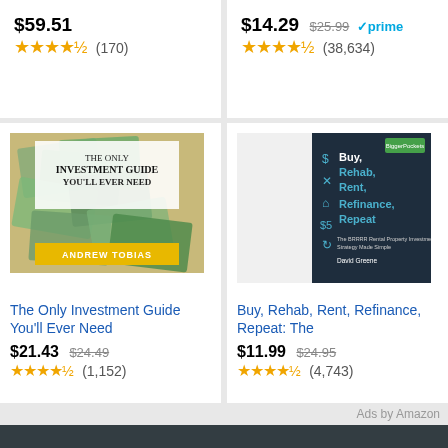$59.51 ★★★★½ (170)
$14.29 $25.99 ✓prime ★★★★½ (38,634)
[Figure (illustration): Book cover: The Only Investment Guide You'll Ever Need by Andrew Tobias]
The Only Investment Guide You'll Ever Need
$21.43 $24.49 ★★★★½ (1,152)
[Figure (illustration): Book cover: Buy, Rehab, Rent, Refinance, Repeat]
Buy, Rehab, Rent, Refinance, Repeat: The
$11.99 $24.95 ★★★★½ (4,743)
Ads by Amazon
Stock Market
[Figure (photo): Photo of Kohl's store exterior sign]
Stocks making the biggest moves midday: Kohl's, Broadcom, Lululemon and more